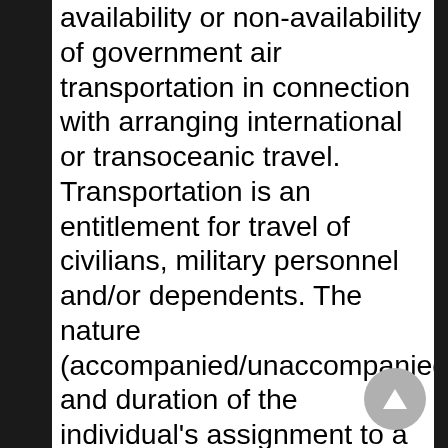availability or non-availability of government air transportation in connection with arranging international or transoceanic travel. Transportation is an entitlement for travel of civilians, military personnel and/or dependents. The nature (accompanied/unaccompanied) and duration of the individual's assignment to a particular station determine the legal right to one or more of the allowances. Travel and transportation allowances authorized at government expense for military and civilian personnel are prescribed by the JFTR. However Pets are NOT an entitlement. The JFTR and JTR are implemented by the Secretaries of the Armed Services in accordance with authority contained in public law. They are regarded as statutory regulations having the force and effect of law. The